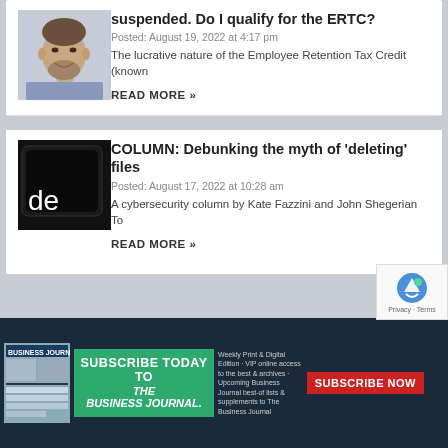[Figure (photo): Portrait photo of a man with beard wearing a light blue shirt, smiling]
suspended. Do I qualify for the ERTC?
Posted: August 19, 2022 at 4:17 pm
The lucrative nature of the Employee Retention Tax Credit (known
READ MORE »
[Figure (photo): Dark image with keyboard delete key showing 'de' text visible]
COLUMN: Debunking the myth of ‘deleting’ files
Posted: August 17, 2022 at 10:28 am
A cybersecurity column by Kate Fazzini and John Shegerian To
READ MORE »
[Figure (other): Bottom banner ad for Business Journal subscription with green subscribe box, text, and red Subscribe Now button]